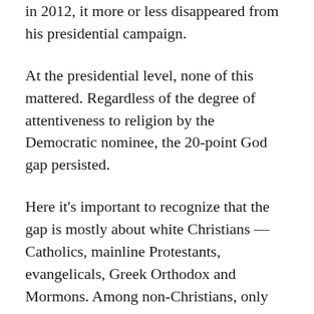in 2012, it more or less disappeared from his presidential campaign.
At the presidential level, none of this mattered. Regardless of the degree of attentiveness to religion by the Democratic nominee, the 20-point God gap persisted.
Here it’s important to recognize that the gap is mostly about white Christians — Catholics, mainline Protestants, evangelicals, Greek Orthodox and Mormons. Among non-Christians, only Orthodox Jews go Republican. Among people of color the only group that doesn’t vote